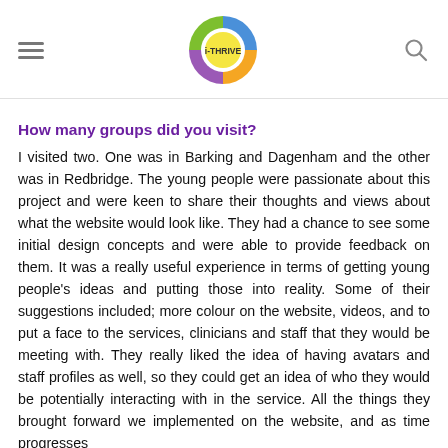i-THRIVE logo with hamburger menu and search icon
How many groups did you visit?
I visited two. One was in Barking and Dagenham and the other was in Redbridge. The young people were passionate about this project and were keen to share their thoughts and views about what the website would look like. They had a chance to see some initial design concepts and were able to provide feedback on them. It was a really useful experience in terms of getting young people's ideas and putting those into reality. Some of their suggestions included; more colour on the website, videos, and to put a face to the services, clinicians and staff that they would be meeting with. They really liked the idea of having avatars and staff profiles as well, so they could get an idea of who they would be potentially interacting with in the service. All the things they brought forward we implemented on the website, and as time progresses